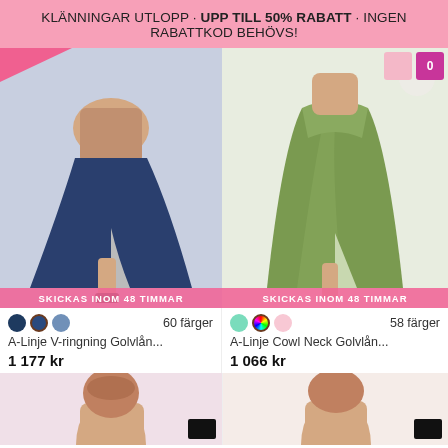KLÄNNINGAR UTLOPP · UPP TILL 50% RABATT · INGEN RABATTKOD BEHÖVS!
[Figure (photo): A-Linje V-ringning floor-length dress in navy blue with side slit, model shown from waist down]
SKICKAS INOM 48 TIMMAR
60 färger
A-Linje V-ringning Golvlån...
1 177 kr
[Figure (photo): A-Linje Cowl Neck floor-length dress in olive/sage green with side slit, model shown from waist down]
SKICKAS INOM 48 TIMMAR
58 färger
A-Linje Cowl Neck Golvlån...
1 066 kr
[Figure (photo): Partial view of a woman in a dress, bottom of page, left product]
[Figure (photo): Partial view of a woman in a dress, bottom of page, right product]